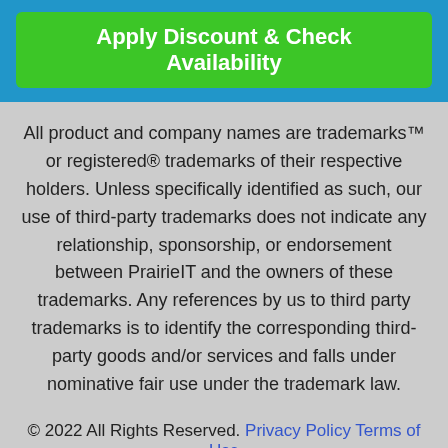Apply Discount & Check Availability
All product and company names are trademarks™ or registered® trademarks of their respective holders. Unless specifically identified as such, our use of third-party trademarks does not indicate any relationship, sponsorship, or endorsement between PrairieIT and the owners of these trademarks. Any references by us to third party trademarks is to identify the corresponding third-party goods and/or services and falls under nominative fair use under the trademark law.
© 2022 All Rights Reserved. Privacy Policy Terms of Use
This is an advertisement and not an actual news article, blog,